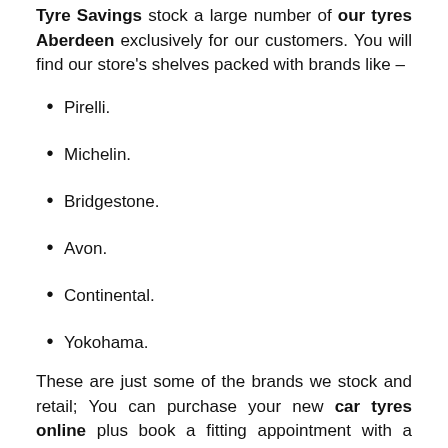Tyre Savings stock a large number of our tyres Aberdeen exclusively for our customers. You will find our store's shelves packed with brands like –
Pirelli.
Michelin.
Bridgestone.
Avon.
Continental.
Yokohama.
These are just some of the brands we stock and retail; You can purchase your new car tyres online plus book a fitting appointment with a garage near you without any hassle.
We believe in transparency